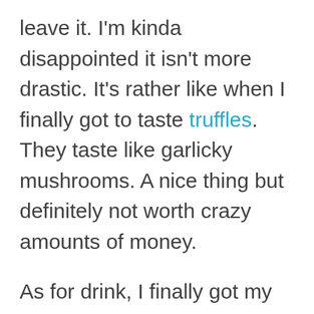leave it. I'm kinda disappointed it isn't more drastic. It's rather like when I finally got to taste truffles. They taste like garlicky mushrooms. A nice thing but definitely not worth crazy amounts of money.

As for drink, I finally got my hands on a bottle of Apothic Sparkling Red. I have a